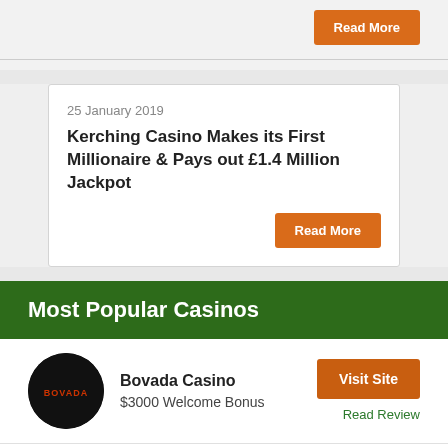Read More
25 January 2019
Kerching Casino Makes its First Millionaire & Pays out £1.4 Million Jackpot
Read More
Most Popular Casinos
Bovada Casino
$3000 Welcome Bonus
Visit Site
Read Review